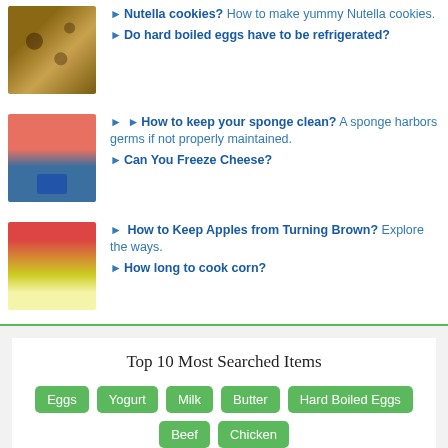► Nutella cookies? How to make yummy Nutella cookies. ►Do hard boiled eggs have to be refrigerated?
[Figure (photo): Photo of cookies on a plate]
► ►How to keep your sponge clean? A sponge harbors germs if not properly maintained. ►Can You Freeze Cheese?
[Figure (photo): Photo of cleaning supplies including a sponge and bottles]
► How to Keep Apples from Turning Brown? Explore the ways. ►How long to cook corn?
[Figure (photo): Photo of apple slices and a drink]
Top 10 Most Searched Items
Eggs Yogurt Milk Butter Hard Boiled Eggs Beef Chicken Potatoes Coffee Cheese